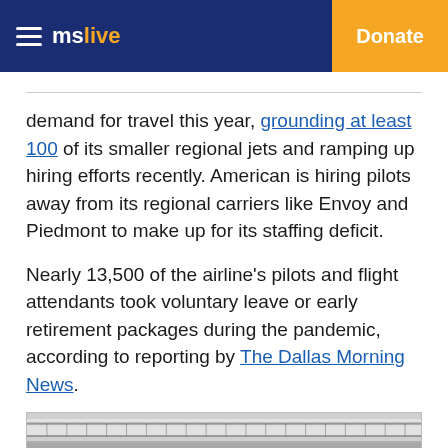mslive | Donate
demand for travel this year, grounding at least 100 of its smaller regional jets and ramping up hiring efforts recently. American is hiring pilots away from its regional carriers like Envoy and Piedmont to make up for its staffing deficit.
Nearly 13,500 of the airline's pilots and flight attendants took voluntary leave or early retirement packages during the pandemic, according to reporting by The Dallas Morning News.
[Figure (photo): Partial view of an airplane exterior, showing fuselage and wing details.]